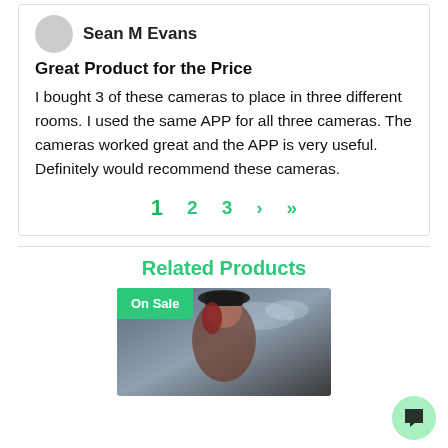Sean M Evans
Great Product for the Price
I bought 3 of these cameras to place in three different rooms. I used the same APP for all three cameras. The cameras worked great and the APP is very useful. Definitely would recommend these cameras.
1  2  3  >  >>
Related Products
[Figure (photo): Product image of a woman dressed as a pirate with an 'On Sale' badge overlay]